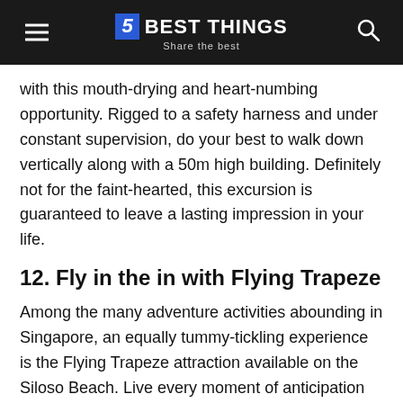5 BEST THINGS — Share the best
with this mouth-drying and heart-numbing opportunity. Rigged to a safety harness and under constant supervision, do your best to walk down vertically along with a 50m high building. Definitely not for the faint-hearted, this excursion is guaranteed to leave a lasting impression in your life.
12. Fly in the in with Flying Trapeze
Among the many adventure activities abounding in Singapore, an equally tummy-tickling experience is the Flying Trapeze attraction available on the Siloso Beach. Live every moment of anticipation and exciting anxiety that circus professionals feel, as you swing on a trapeze, high in the air. Keep those screams coming